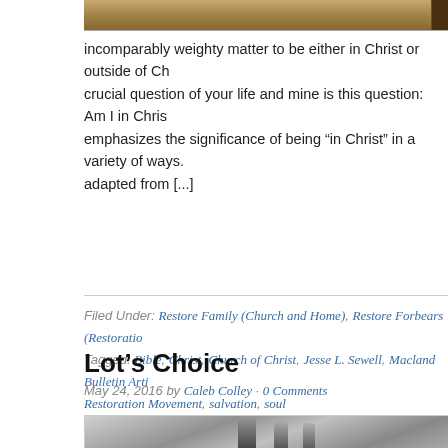[Figure (photo): Top portion of a cropped photograph showing a wooden surface, partially visible at the top of the page.]
incomparably weighty matter to be either in Christ or outside of Ch... crucial question of your life and mine is this question: Am I in Chris... emphasizes the significance of being “in Christ” in a variety of ways. adapted from [...]
Filed Under: Restore Family (Church and Home), Restore Forbears (Restoratio... Tagged: Bible, Christ, Church of Christ, Jesse L. Sewell, Macland Bulletin Arti... Restoration Movement, salvation, soul
Lot’s Choice
May 24, 2016 by Caleb Colley · 0 Comments
[Figure (photo): Black and white illustration of biblical figures, showing a robed man with his arm outstretched, accompanied by other figures, depicting Lot’s choice scene.]